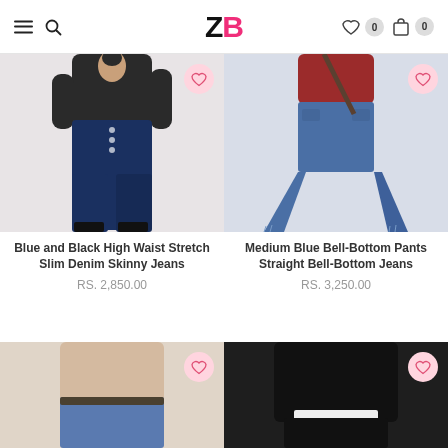ZB — Navigation header with menu, search, wishlist (0), and cart (0)
[Figure (photo): Woman wearing Blue and Black High Waist Stretch Slim Denim Skinny Jeans, black top, dark jeans]
Blue and Black High Waist Stretch Slim Denim Skinny Jeans
RS. 2,850.00
[Figure (photo): Model wearing Medium Blue Bell-Bottom Pants Straight Bell-Bottom Jeans with flared cut]
Medium Blue Bell-Bottom Pants Straight Bell-Bottom Jeans
RS. 3,250.00
[Figure (photo): Partial view of bottom product card on left — jeans product]
[Figure (photo): Partial view of bottom product card on right — black clothing product]